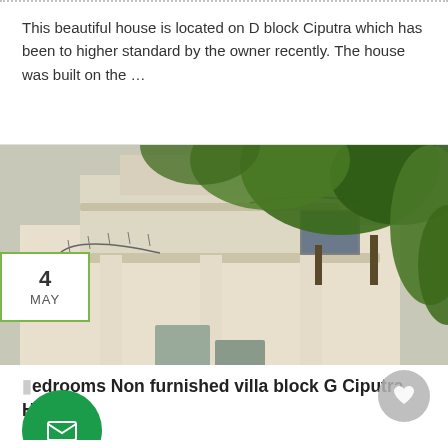This beautiful house is located on D block Ciputra which has been to higher standard by the owner recently. The house was built on the …
[Figure (photo): Exterior photo of a white multi-storey villa with ornate balcony railings and surrounded by large green trees, taken from a low angle looking upward.]
4 MAY
edrooms Non furnished villa block G Ciputra Hanoi